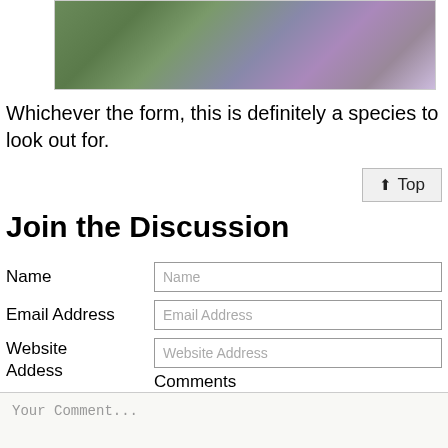[Figure (photo): Blurred nature photograph showing green foliage and purple/mauve blurred background]
Whichever the form, this is definitely a species to look out for.
↑ Top
Join the Discussion
Name [input field]
Email Address [input field]
Website Address [input field]
Comments
Your Comment...